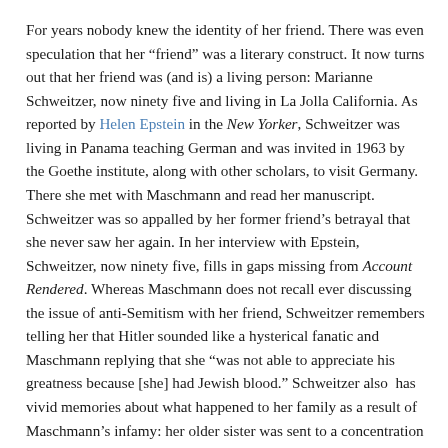For years nobody knew the identity of her friend. There was even speculation that her “friend” was a literary construct. It now turns out that her friend was (and is) a living person: Marianne Schweitzer, now ninety five and living in La Jolla California. As reported by Helen Epstein in the New Yorker, Schweitzer was living in Panama teaching German and was invited in 1963 by the Goethe institute, along with other scholars, to visit Germany. There she met with Maschmann and read her manuscript. Schweitzer was so appalled by her former friend’s betrayal that she never saw her again. In her interview with Epstein, Schweitzer, now ninety five, fills in gaps missing from Account Rendered. Whereas Maschmann does not recall ever discussing the issue of anti-Semitism with her friend, Schweitzer remembers telling her that Hitler sounded like a hysterical fanatic and Maschmann replying that she “was not able to appreciate his greatness because [she] had Jewish blood.” Schweitzer also has vivid memories about what happened to her family as a result of Maschmann’s infamy: her older sister was sent to a concentration camp, her mother was arrested and her father was badly beaten during Kristallnacht. Yet in retrospect, Schweitzer acknowledged Maschmann’s courage for honestly confronting her Nazi past.